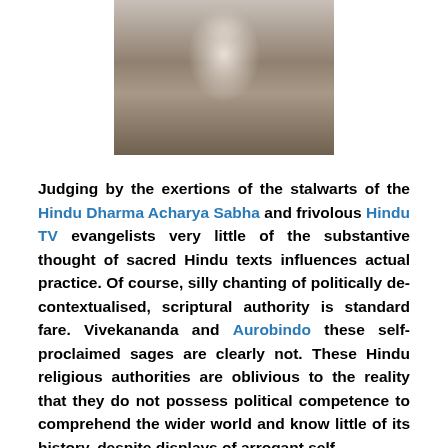[Figure (photo): Black and white photograph of a person (appearing to be a woman) seated at a desk or table, writing or working, viewed from the side]
Judging by the exertions of the stalwarts of the Hindu Dharma Acharya Sabha and frivolous Hindu TV evangelists very little of the substantive thought of sacred Hindu texts influences actual practice. Of course, silly chanting of politically de-contextualised, scriptural authority is standard fare. Vivekananda and Aurobindo these self-proclaimed sages are clearly not. These Hindu religious authorities are oblivious to the reality that they do not possess political competence to comprehend the wider world and know little of its history, despite displays of arrogant self-